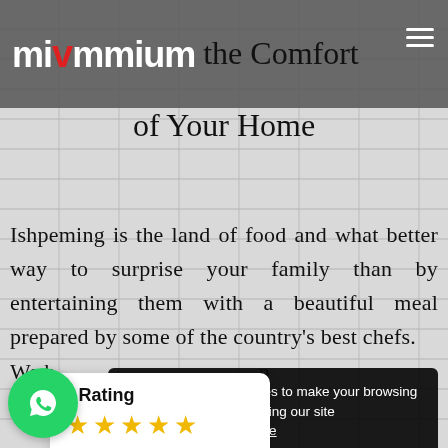mivmmium the Comfort of Your Home
Ishpeming is the land of food and what better way to surprise your family than by entertaining them with a beautiful meal prepared by some of the country's best chefs. We h... c... n...
Our website uses cookies to make your browsing experience better. By using our site [use] of cookies. Learn more
[Figure (other): Yellow 'Yes' button for cookie consent]
[Figure (infographic): Rating widget showing 5 gold stars with label 'Rating' and a red dot]
[Figure (logo): WhatsApp green circular button with phone icon]